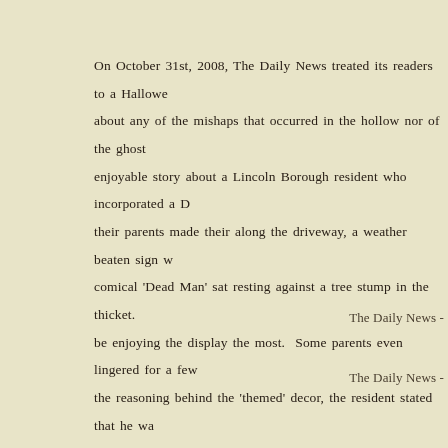On October 31st, 2008, The Daily News treated its readers to a Hallowe about any of the mishaps that occurred in the hollow nor of the ghost enjoyable story about a Lincoln Borough resident who incorporated a D their parents made their along the driveway, a weather beaten sign w comical 'Dead Man' sat resting against a tree stump in the thicket. be enjoying the display the most. Some parents even lingered for a few the reasoning behind the 'themed' decor, the resident stated that he wa generation.
The Daily News -
The Daily News -